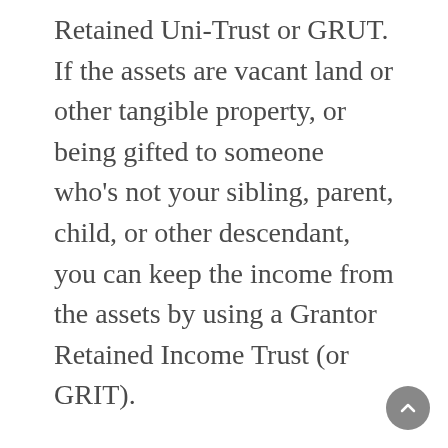Retained Uni-Trust or GRUT. If the assets are vacant land or other tangible property, or being gifted to someone who's not your sibling, parent, child, or other descendant, you can keep the income from the assets by using a Grantor Retained Income Trust (or GRIT).
Along with a trust where you make a gift to an individual, you can protect the trust assets and get a charitable deduction, if you make a gift to charity through